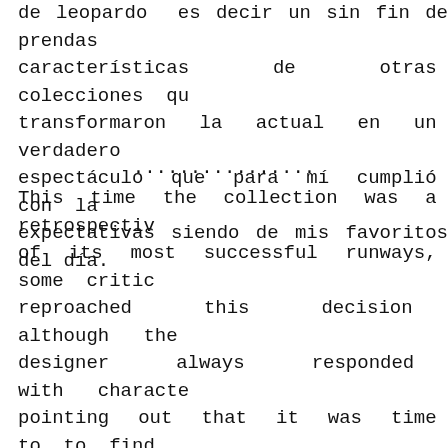de leopardo es decir un sin fin de prendas características de otras colecciones que transformaron la actual en un verdadero espectáculo que para mí cumplió con las expectativas siendo de mis favoritos del día.
...............
This time the collection was a retrospective of its most successful runways, some critics reproached this decision although the designer always responded with character pointing out that it was time to to find oneself. Everyone talks about finding each other but let's look at the collection in detail to see if it was the best he could offer No 21, vinyl dresses, cropped sweatshirts pleated skirts, pink millennial, informal belts yet, animal print is to say an endless garments and characteristics of other collections that transformed the current